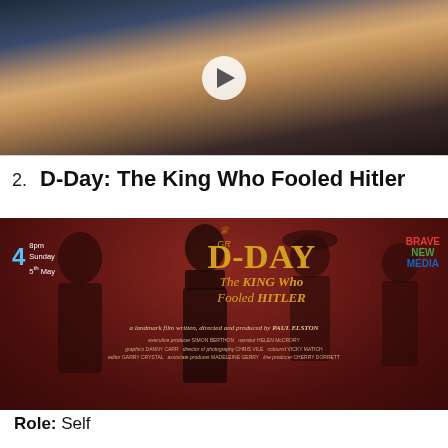[Figure (photo): Young man with blonde hair wearing dark jacket and gold cross necklace, with play button overlay, dark blue background]
2. D-Day: The King Who Fooled Hitler
[Figure (photo): Movie poster for D-Day: The King Who Fooled Hitler on Channel 4, 8pm Sunday 5th May. Dark red background with silhouetted figures in WWII era clothing. Gold text showing D-Day The King Who Fooled Hitler. Brave New Media logo. A landmark film written, directed and produced by Paul Elston. Credits: executive producer Simon Berthon, narrator Helen McCrory, graphics Danny Carr, director of photography Chris Vile, colourist Vicky Matich, editor Garry Crystal, associate producer Madeleine Gerry, line producer Cherry Dorrett.]
Role: Self